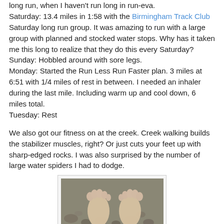long run, when I haven't run long in run-eva.
Saturday: 13.4 miles in 1:58 with the Birmingham Track Club Saturday long run group. It was amazing to run with a large group with planned and stocked water stops. Why has it taken me this long to realize that they do this every Saturday?
Sunday: Hobbled around with sore legs.
Monday: Started the Run Less Run Faster plan. 3 miles at 6:51 with 1/4 miles of rest in between. I needed an inhaler during the last mile. Including warm up and cool down, 6 miles total.
Tuesday: Rest
We also got our fitness on at the creek. Creek walking builds the stabilizer muscles, right? Or just cuts your feet up with sharp-edged rocks. I was also surprised by the number of large water spiders I had to dodge.
[Figure (photo): Photo of bare feet standing in a rocky creek bed with water visible]